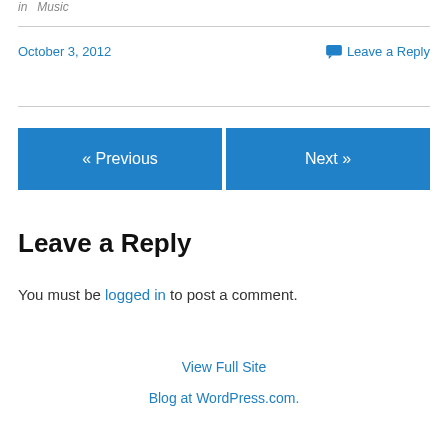in  Music
October 3, 2012
Leave a Reply
« Previous
Next »
Leave a Reply
You must be logged in to post a comment.
View Full Site
Blog at WordPress.com.